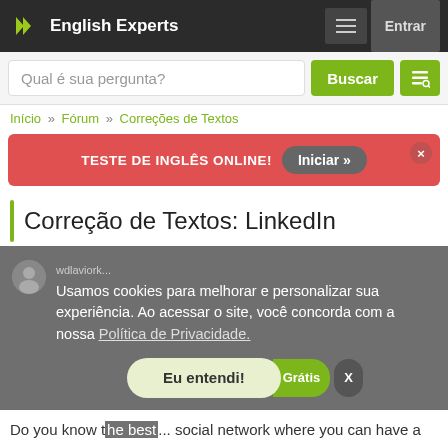English Experts — Entrar
Qual é sua pergunta? Buscar
Início » Fórum » Correções de Textos
[Figure (screenshot): Red promotional banner: TESTE DE INGLÊS ONLINE! with Iniciar » button and close X]
Correção de Textos: LinkedIn
Usamos cookies para melhorar e personalizar sua experiência. Ao acessar o site, você concorda com a nossa Política de Privacidade.
Eu entendi!
Do you know t... social network where you can have a professional profile and keep a list of